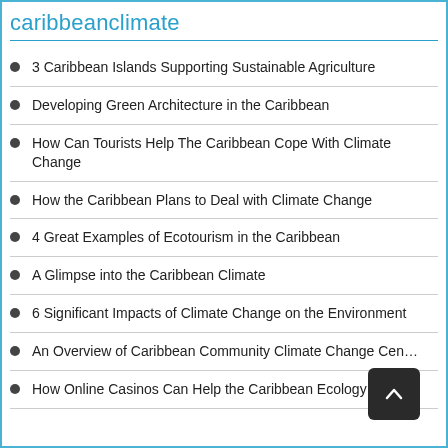caribbeanclimate
3 Caribbean Islands Supporting Sustainable Agriculture
Developing Green Architecture in the Caribbean
How Can Tourists Help The Caribbean Cope With Climate Change
How the Caribbean Plans to Deal with Climate Change
4 Great Examples of Ecotourism in the Caribbean
A Glimpse into the Caribbean Climate
6 Significant Impacts of Climate Change on the Environment
An Overview of Caribbean Community Climate Change Cen…
How Online Casinos Can Help the Caribbean Ecology